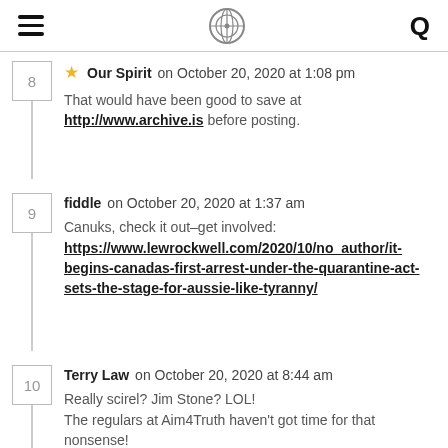Navigation header with hamburger menu, logo, and search icon
8 — Our Spirit on October 20, 2020 at 1:08 pm — That would have been good to save at http://www.archive.is before posting.
9 — fiddle on October 20, 2020 at 1:37 am — Canuks, check it out–get involved: https://www.lewrockwell.com/2020/10/no_author/it-begins-canadas-first-arrest-under-the-quarantine-act-sets-the-stage-for-aussie-like-tyranny/
10 — Terry Law on October 20, 2020 at 8:44 am — Really scirel? Jim Stone? LOL! The regulars at Aim4Truth haven't got time for that nonsense!
11 — scirel on October 20, 2020 at 12:47 pm